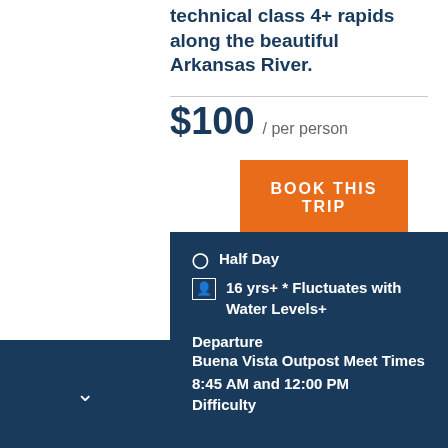technical class 4+ rapids along the beautiful Arkansas River.
$100 / per person
BOOK THIS TRIP
Half Day
16 yrs+ * Fluctuates with Water Levels+
Departure
Buena Vista Outpost Meet Times
8:45 AM and 12:00 PM
Difficulty